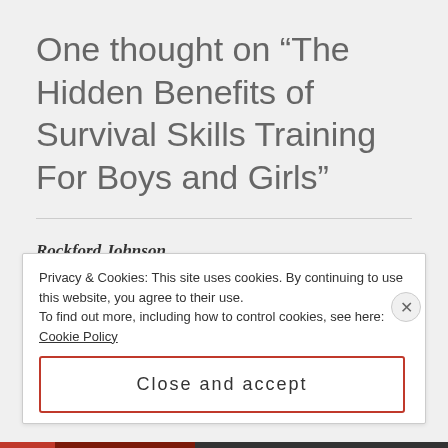One thought on “The Hidden Benefits of Survival Skills Training For Boys and Girls”
Rockford Johnson
SEPTEMBER 15, 2016 AT 2:20 PM
Privacy & Cookies: This site uses cookies. By continuing to use this website, you agree to their use. To find out more, including how to control cookies, see here: Cookie Policy
Close and accept